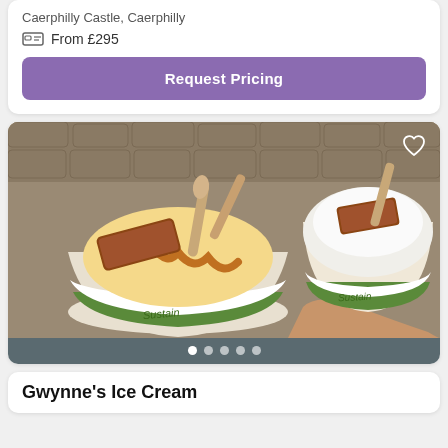Caerphilly Castle, Caerphilly
From £295
Request Pricing
[Figure (photo): Two cups of ice cream from Sustain brand, topped with caramel sauce and brownie pieces, held by hands outdoors on a cobblestone background]
Gwynne's Ice Cream